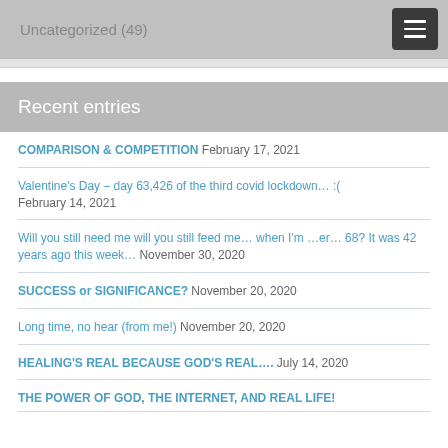Uncategorized (49)
Recent entries
COMPARISON & COMPETITION February 17, 2021
Valentine's Day – day 63,426 of the third covid lockdown… :( February 14, 2021
Will you still need me will you still feed me… when I'm …er… 68? It was 42 years ago this week… November 30, 2020
SUCCESS or SIGNIFICANCE? November 20, 2020
Long time, no hear (from me!) November 20, 2020
HEALING'S REAL BECAUSE GOD'S REAL…. July 14, 2020
THE POWER OF GOD, THE INTERNET, AND REAL LIFE!